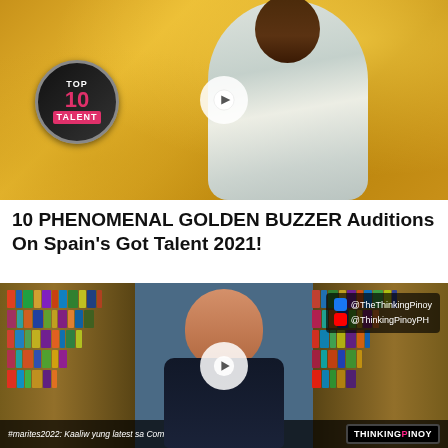[Figure (screenshot): Video thumbnail for '10 PHENOMENAL GOLDEN BUZZER Auditions On Spain's Got Talent 2021!' with Top 10 Talent badge overlay, person with arms raised in celebration against golden bokeh background, white play button overlay.]
10 PHENOMENAL GOLDEN BUZZER Auditions On Spain's Got Talent 2021!
[Figure (screenshot): Video thumbnail showing a man (Thinking Pinoy host) in front of a bookshelf, with social media handles @TheThinkingPinoy and @ThinkingPinoyPH, play button overlay, subtitle text '#marites2022: Kaaliw yung latest sa Comelec Petition v BBM', and Thinking Pinoy logo.]